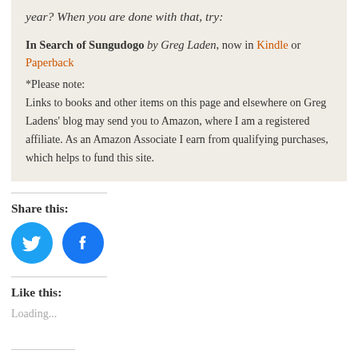year? When you are done with that, try:
In Search of Sungudogo by Greg Laden, now in Kindle or Paperback
*Please note:
Links to books and other items on this page and elsewhere on Greg Ladens' blog may send you to Amazon, where I am a registered affiliate. As an Amazon Associate I earn from qualifying purchases, which helps to fund this site.
Share this:
[Figure (other): Twitter and Facebook social share icon buttons (circles with bird and f logos)]
Like this:
Loading...